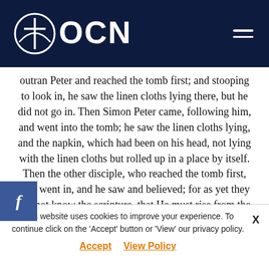OCN
outran Peter and reached the tomb first; and stooping to look in, he saw the linen cloths lying there, but he did not go in. Then Simon Peter came, following him, and went into the tomb; he saw the linen cloths lying, and the napkin, which had been on his head, not lying with the linen cloths but rolled up in a place by itself. Then the other disciple, who reached the tomb first, also went in, and he saw and believed; for as yet they did not know the scripture, that He must rise from the dead. Then the disciples went back to their homes.
John 20: 1-10
This website uses cookies to improve your experience. To continue click on the 'Accept' button or 'View' our privacy policy. Accept  View Policy